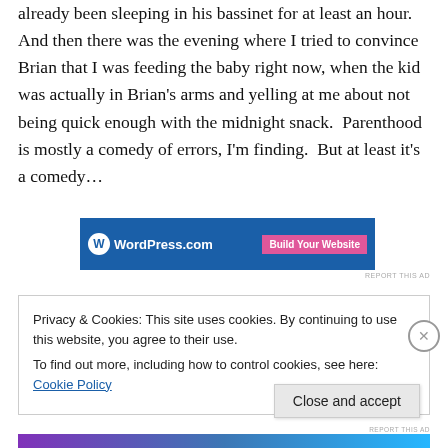already been sleeping in his bassinet for at least an hour. And then there was the evening where I tried to convince Brian that I was feeding the baby right now, when the kid was actually in Brian's arms and yelling at me about not being quick enough with the midnight snack. Parenthood is mostly a comedy of errors, I'm finding. But at least it's a comedy…
[Figure (screenshot): WordPress.com advertisement banner with blue background, WordPress logo on the left and 'Build Your Website' pink button on the right]
REPORT THIS AD
Privacy & Cookies: This site uses cookies. By continuing to use this website, you agree to their use.
To find out more, including how to control cookies, see here: Cookie Policy
Close and accept